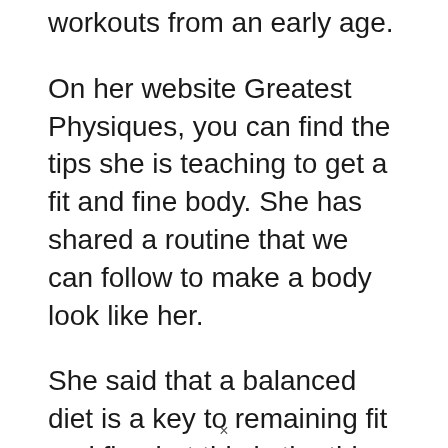workouts from an early age.
On her website Greatest Physiques, you can find the tips she is teaching to get a fit and fine body. She has shared a routine that we can follow to make a body look like her.
She said that a balanced diet is a key to remaining fit and fine but this is the thing that other people miss easily. Bru spends her lots of time doing exercise and workout and she also does swimming four times a week to make her body strong.
Who Is Bru Lucas Dating?